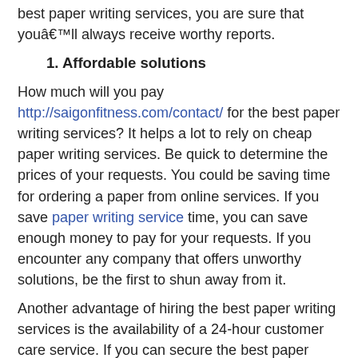best paper writing services, you are sure that youâll always receive worthy reports.
1. Affordable solutions
How much will you pay http://saigonfitness.com/contact/ for the best paper writing services? It helps a lot to rely on cheap paper writing services. Be quick to determine the prices of your requests. You could be saving time for ordering a paper from online services. If you save paper writing service time, you can save enough money to pay for your requests. If you encounter any company that offers unworthy solutions, be the first to shun away from it.
Another advantage of hiring the best paper writing services is the availability of a 24-hour customer care service. If you can secure the best paper writing services, youâll always have someone to help you whenever you face challenges.
Filed Under: Uncategorized